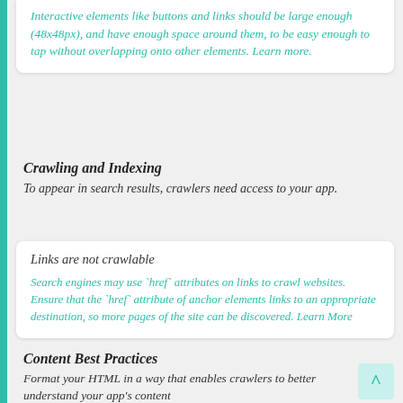Interactive elements like buttons and links should be large enough (48x48px), and have enough space around them, to be easy enough to tap without overlapping onto other elements. Learn more.
Crawling and Indexing
To appear in search results, crawlers need access to your app.
Links are not crawlable
Search engines may use `href` attributes on links to crawl websites. Ensure that the `href` attribute of anchor elements links to an appropriate destination, so more pages of the site can be discovered. Learn More
Content Best Practices
Format your HTML in a way that enables crawlers to better understand your app's content